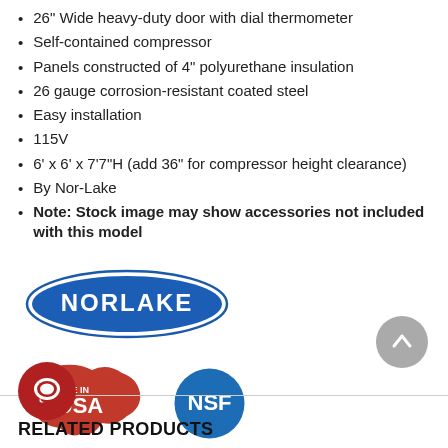26" Wide heavy-duty door with dial thermometer
Self-contained compressor
Panels constructed of 4" polyurethane insulation
26 gauge corrosion-resistant coated steel
Easy installation
115V
6' x 6' x 7'7"H (add 36" for compressor height clearance)
By Nor-Lake
Note: Stock image may show accessories not included with this model
[Figure (logo): Norlake brand logo — blue oval with white text NORLAKE]
[Figure (logo): Made in USA logo — red text on USA map outline]
[Figure (logo): NSF certification logo — blue circle with white text NSF]
[Figure (other): Scroll-to-top button — grey circle with upward chevron]
[Figure (other): Chat button — dark red circle with speech bubble icon]
RELATED PRODUCTS